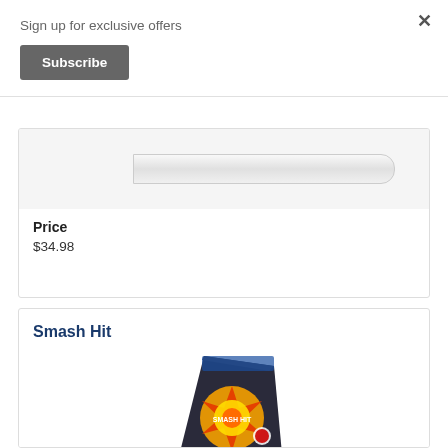Sign up for exclusive offers
×
Subscribe
[Figure (photo): Partial product image of a white knife or flat product against a light gray background]
Price
$34.98
Smash Hit
[Figure (photo): Partial view of a fireworks product package with colorful explosive graphics, dark metallic packaging]